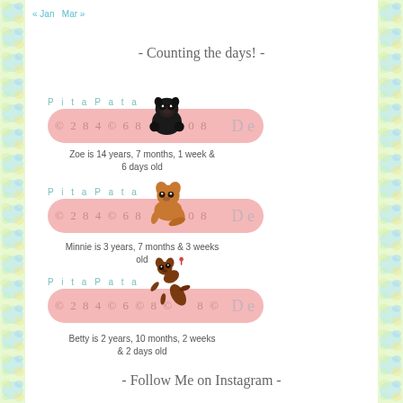« Jan  Mar »
- Counting the days! -
[Figure (illustration): PitaPata pet age ticker widget for Zoe - pink bar with numbers and black pug dog illustration]
Zoe is 14 years, 7 months, 1 week & 6 days old
[Figure (illustration): PitaPata pet age ticker widget for Minnie - pink bar with numbers and chihuahua dog illustration]
Minnie is 3 years, 7 months & 3 weeks old
[Figure (illustration): PitaPata pet age ticker widget for Betty - pink bar with numbers and dachshund dog illustration]
Betty is 2 years, 10 months, 2 weeks & 2 days old
- Follow Me on Instagram -